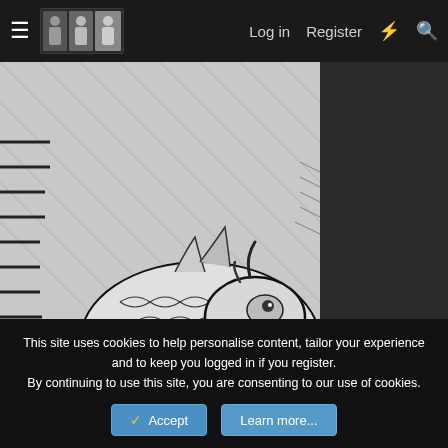Log in  Register
[Figure (illustration): Black and white manga panel showing a detailed dragon creature with intricate scales and patterns. In the lower left corner, a speech bubble partially shows the text '...I', 'OW WHO', 'E IS!!']
So Kaido lost his left horn?
This site uses cookies to help personalise content, tailor your experience and to keep you logged in if you register.
By continuing to use this site, you are consenting to our use of cookies.
Accept  Learn more...